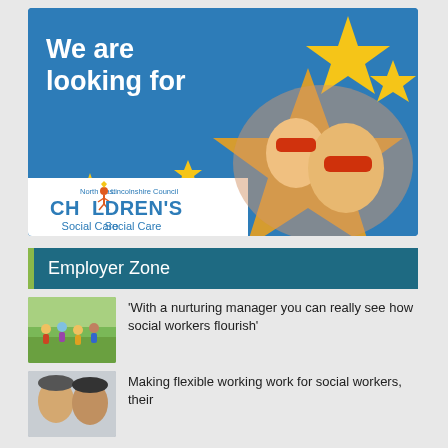[Figure (illustration): North East Lincolnshire Council Children's Social Care recruitment banner. Blue background with yellow stars, text 'We are looking for', image of child and adult wearing superhero masks, and the Children's Social Care logo.]
Employer Zone
[Figure (photo): Children running outdoors in a park or playground.]
‘With a nurturing manager you can really see how social workers flourish’
[Figure (photo): Two men, possibly social workers or managers, photographed together.]
Making flexible working work for social workers, their